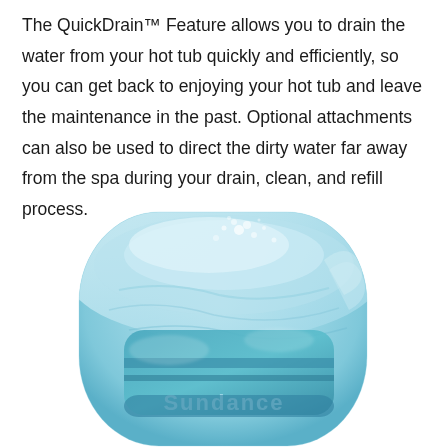The QuickDrain™ Feature allows you to drain the water from your hot tub quickly and efficiently, so you can get back to enjoying your hot tub and leave the maintenance in the past. Optional attachments can also be used to direct the dirty water far away from the spa during your drain, clean, and refill process.
[Figure (photo): Close-up photo of a Sundance spa hot tub drain/QuickDrain component submerged in bubbling water. The rounded rectangular shape shows the Sundance logo embossed on a teal/aqua colored surface with water and bubbles around it.]